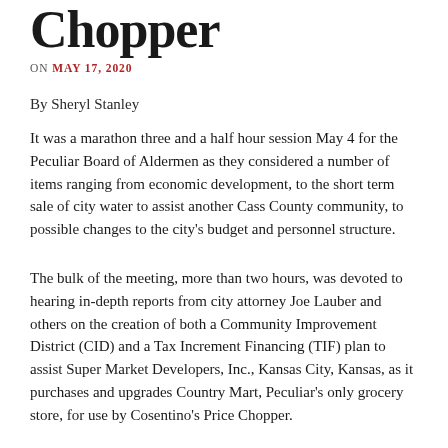Chopper
ON MAY 17, 2020
By Sheryl Stanley
It was a marathon three and a half hour session May 4 for the Peculiar Board of Aldermen as they considered a number of items ranging from economic development, to the short term sale of city water to assist another Cass County community, to possible changes to the city's budget and personnel structure.
The bulk of the meeting, more than two hours, was devoted to hearing in-depth reports from city attorney Joe Lauber and others on the creation of both a Community Improvement District (CID) and a Tax Increment Financing (TIF) plan to assist Super Market Developers, Inc., Kansas City, Kansas, as it purchases and upgrades Country Mart, Peculiar's only grocery store, for use by Cosentino's Price Chopper.